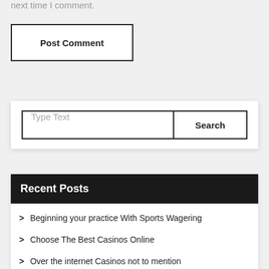next time I comment.
Post Comment
Type Text
Search
Recent Posts
Beginning your practice With Sports Wagering
Choose The Best Casinos Online
Over the internet Casinos not to mention